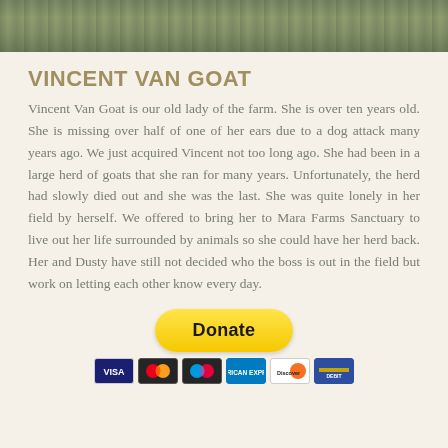[Figure (photo): Partial photo of a goat, showing fur texture with green background, cropped strip at top of page]
VINCENT VAN GOAT
Vincent Van Goat is our old lady of the farm. She is over ten years old. She is missing over half of one of her ears due to a dog attack many years ago. We just acquired Vincent not too long ago. She had been in a large herd of goats that she ran for many years. Unfortunately, the herd had slowly died out and she was the last. She was quite lonely in her field by herself. We offered to bring her to Mara Farms Sanctuary to live out her life surrounded by animals so she could have her herd back. Her and Dusty have still not decided who the boss is out in the field but work on letting each other know every day.
[Figure (other): PayPal Donate button (yellow rounded rectangle) with payment card icons below (Visa, Mastercard, Maestro, American Express, Discover, and another card)]